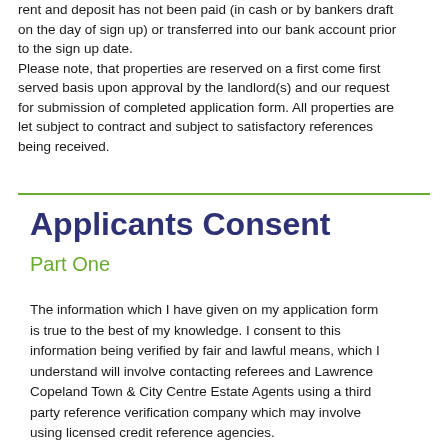rent and deposit has not been paid (in cash or by bankers draft on the day of sign up) or transferred into our bank account prior to the sign up date.
Please note, that properties are reserved on a first come first served basis upon approval by the landlord(s) and our request for submission of completed application form. All properties are let subject to contract and subject to satisfactory references being received.
Applicants Consent
Part One
The information which I have given on my application form is true to the best of my knowledge. I consent to this information being verified by fair and lawful means, which I understand will involve contacting referees and Lawrence Copeland Town & City Centre Estate Agents using a third party reference verification company which may involve using licensed credit reference agencies.